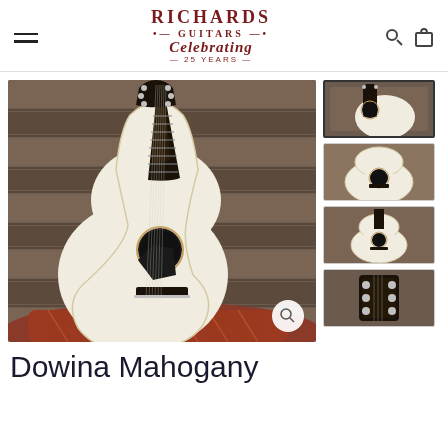Richards Guitars - Celebrating 25 Years
[Figure (photo): Main product photo of a white/cream acoustic guitar (Dowina Mahogany) leaning against wooden pallet shelves, with a colorful patterned cushion/pillow at the base]
[Figure (photo): Thumbnail 1: Guitar headstock and body close-up]
[Figure (photo): Thumbnail 2: Guitar body top view]
[Figure (photo): Thumbnail 3: Guitar body front view standing]
[Figure (photo): Thumbnail 4: Guitar headstock/tuners close-up]
Dowina Mahogany